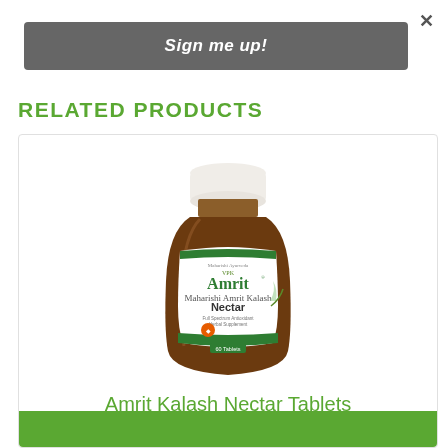×
Sign me up!
RELATED PRODUCTS
[Figure (photo): Brown amber glass bottle of Amrit Kalash Nectar Tablets herbal supplement with white cap and green label showing Full Spectrum Antioxidant Herbal Supplement, 60 tablets]
Amrit Kalash Nectar Tablets
MA7
NZ $88.95